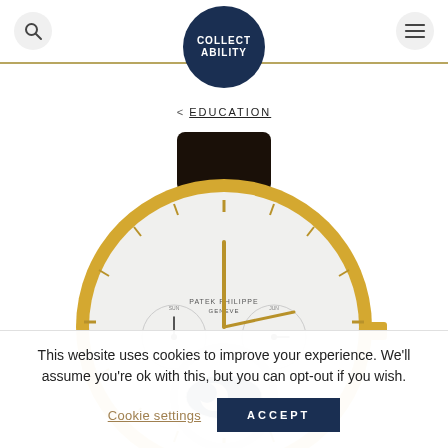COLLECTABILITY
< EDUCATION
[Figure (photo): A Patek Philippe Geneva yellow gold luxury watch with perpetual calendar and moon phase complication, featuring a white dial with gold hands and indexes, displayed on a dark leather strap against a white background.]
This website uses cookies to improve your experience. We'll assume you're ok with this, but you can opt-out if you wish.
Cookie settings   ACCEPT